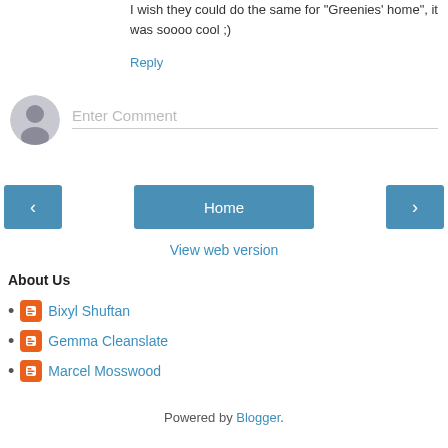I wish they could do the same for "Greenies' home", it was soooo cool ;)
Reply
[Figure (illustration): Generic user avatar icon (grey circle with silhouette)]
Enter Comment
< Home >
View web version
About Us
Bixyl Shuftan
Gemma Cleanslate
Marcel Mosswood
Powered by Blogger.